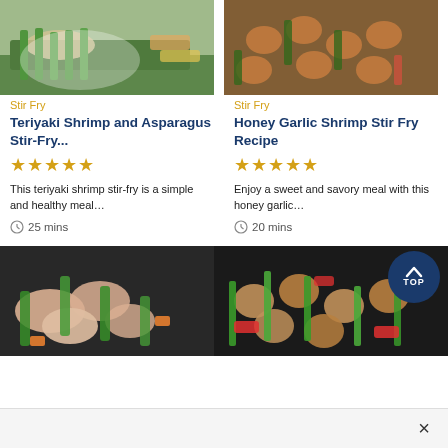[Figure (photo): Teriyaki shrimp and asparagus stir-fry dish on a white plate]
[Figure (photo): Honey garlic shrimp stir-fry in a bowl]
Stir Fry
Stir Fry
Teriyaki Shrimp and Asparagus Stir-Fry...
Honey Garlic Shrimp Stir Fry Recipe
★★★★★
★★★★★
This teriyaki shrimp stir-fry is a simple and healthy meal…
Enjoy a sweet and savory meal with this honey garlic…
25 mins
20 mins
[Figure (photo): Raw shrimp with green vegetables]
[Figure (photo): Stir-fry with sausage, asparagus, and red peppers]